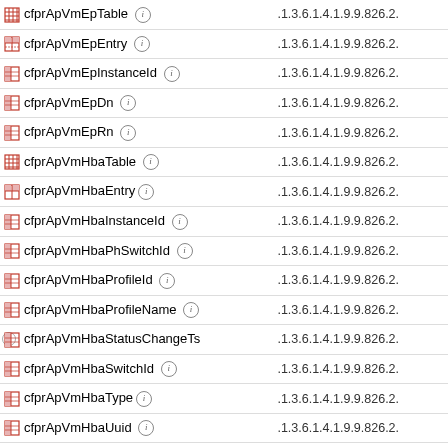| Name | OID |
| --- | --- |
| cfprApVmEpTable | .1.3.6.1.4.1.9.9.826.2. |
| cfprApVmEpEntry | .1.3.6.1.4.1.9.9.826.2. |
| cfprApVmEpInstanceId | .1.3.6.1.4.1.9.9.826.2. |
| cfprApVmEpDn | .1.3.6.1.4.1.9.9.826.2. |
| cfprApVmEpRn | .1.3.6.1.4.1.9.9.826.2. |
| cfprApVmHbaTable | .1.3.6.1.4.1.9.9.826.2. |
| cfprApVmHbaEntry | .1.3.6.1.4.1.9.9.826.2. |
| cfprApVmHbaInstanceId | .1.3.6.1.4.1.9.9.826.2. |
| cfprApVmHbaPhSwitchId | .1.3.6.1.4.1.9.9.826.2. |
| cfprApVmHbaProfileId | .1.3.6.1.4.1.9.9.826.2. |
| cfprApVmHbaProfileName | .1.3.6.1.4.1.9.9.826.2. |
| cfprApVmHbaStatusChangeTs | .1.3.6.1.4.1.9.9.826.2. |
| cfprApVmHbaSwitchId | .1.3.6.1.4.1.9.9.826.2. |
| cfprApVmHbaType | .1.3.6.1.4.1.9.9.826.2. |
| cfprApVmHbaUuid | .1.3.6.1.4.1.9.9.826.2. |
| cfprApVmHbaVStatus | .1.3.6.1.4.1.9.9.826. |